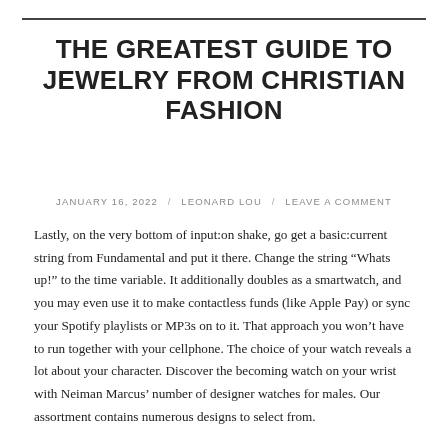THE GREATEST GUIDE TO JEWELRY FROM CHRISTIAN FASHION
JANUARY 16, 2022 / LEONARD LOU / LEAVE A COMMENT
Lastly, on the very bottom of input:on shake, go get a basic:current string from Fundamental and put it there. Change the string “Whats up!” to the time variable. It additionally doubles as a smartwatch, and you may even use it to make contactless funds (like Apple Pay) or sync your Spotify playlists or MP3s on to it. That approach you won’t have to run together with your cellphone. The choice of your watch reveals a lot about your character. Discover the becoming watch on your wrist with Neiman Marcus’ number of designer watches for males. Our assortment contains numerous designs to select from.